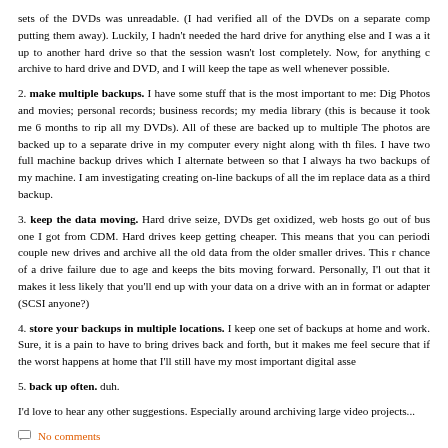sets of the DVDs was unreadable. (I had verified all of the DVDs on a separate comp putting them away). Luckily, I hadn't needed the hard drive for anything else and I was a it up to another hard drive so that the session wasn't lost completely. Now, for anything c archive to hard drive and DVD, and I will keep the tape as well whenever possible.
2. make multiple backups. I have some stuff that is the most important to me: Dig Photos and movies; personal records; business records; my media library (this is because it took me 6 months to rip all my DVDs). All of these are backed up to multiple The photos are backed up to a separate drive in my computer every night along with th files. I have two full machine backup drives which I alternate between so that I always ha two backups of my machine. I am investigating creating on-line backups of all the im replace data as a third backup.
3. keep the data moving. Hard drive seize, DVDs get oxidized, web hosts go out of bus one I got from CDM. Hard drives keep getting cheaper. This means that you can periodi couple new drives and archive all the old data from the older smaller drives. This r chance of a drive failure due to age and keeps the bits moving forward. Personally, I'l out that it makes it less likely that you'll end up with your data on a drive with an in format or adapter (SCSI anyone?)
4. store your backups in multiple locations. I keep one set of backups at home and work. Sure, it is a pain to have to bring drives back and forth, but it makes me feel secure that if the worst happens at home that I'll still have my most important digital asse
5. back up often. duh.
I'd love to hear any other suggestions. Especially around archiving large video projects...
No comments